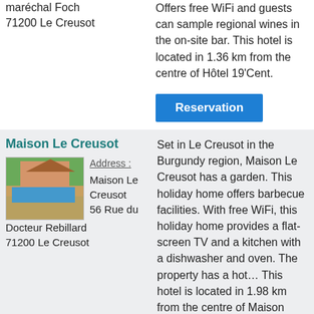maréchal Foch
71200 Le Creusot
Offers free WiFi and guests can sample regional wines in the on-site bar. This hotel is located in 1.36 km from the centre of Hôtel 19'Cent.
Reservation
Maison Le Creusot
[Figure (photo): Exterior photo of Maison Le Creusot showing a building with pool area surrounded by greenery]
Address :
Maison Le Creusot
56 Rue du Docteur Rebillard
71200 Le Creusot
Set in Le Creusot in the Burgundy region, Maison Le Creusot has a garden. This holiday home offers barbecue facilities. With free WiFi, this holiday home provides a flat-screen TV and a kitchen with a dishwasher and oven. The property has a hot… This hotel is located in 1.98 km from the centre of Maison